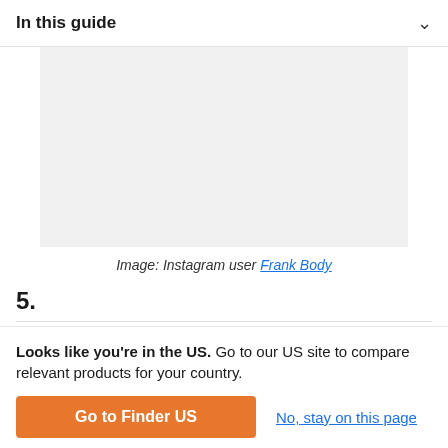In this guide
[Figure (photo): A placeholder/blank image area with light gray background representing an Instagram image from Frank Body]
Image: Instagram user Frank Body
5.
Looks like you're in the US. Go to our US site to compare relevant products for your country.
Go to Finder US
No, stay on this page